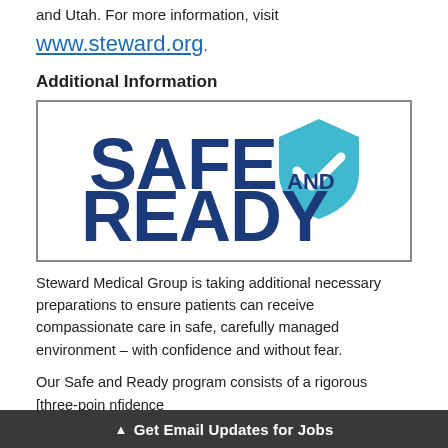and Utah. For more information, visit www.steward.org.
Additional Information
[Figure (logo): Safe and Ready logo: bold dark blue text 'SAFE AND READY' with a teal shield icon containing a white checkmark]
Steward Medical Group is taking additional necessary preparations to ensure patients can receive compassionate care in safe, carefully managed environment – with confidence and without fear.
Our Safe and Ready program consists of a rigorous [three-point... confidence
▲ Get Email Updates for Jobs